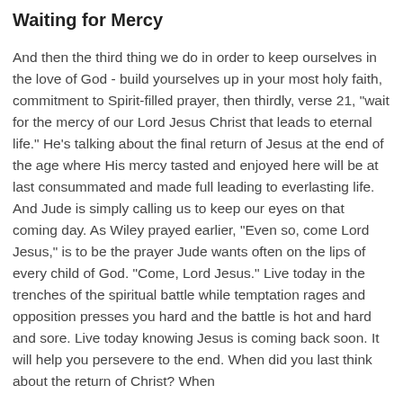Waiting for Mercy
And then the third thing we do in order to keep ourselves in the love of God - build yourselves up in your most holy faith, commitment to Spirit-filled prayer, then thirdly, verse 21, "wait for the mercy of our Lord Jesus Christ that leads to eternal life." He's talking about the final return of Jesus at the end of the age where His mercy tasted and enjoyed here will be at last consummated and made full leading to everlasting life. And Jude is simply calling us to keep our eyes on that coming day. As Wiley prayed earlier, "Even so, come Lord Jesus," is to be the prayer Jude wants often on the lips of every child of God. "Come, Lord Jesus." Live today in the trenches of the spiritual battle while temptation rages and opposition presses you hard and the battle is hot and hard and sore. Live today knowing Jesus is coming back soon. It will help you persevere to the end. When did you last think about the return of Christ? When